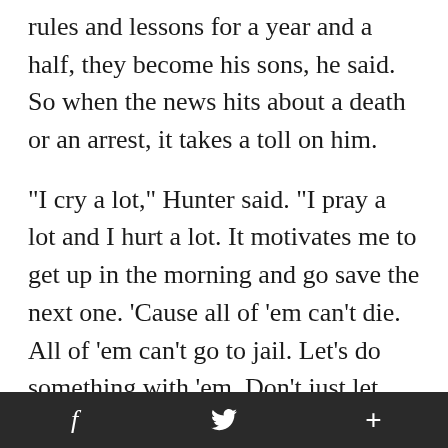rules and lessons for a year and a half, they become his sons, he said. So when the news hits about a death or an arrest, it takes a toll on him.
"I cry a lot," Hunter said. "I pray a lot and I hurt a lot. It motivates me to get up in the morning and go save the next one. 'Cause all of 'em can't die. All of 'em can't go to jail. Let's do something with 'em. Don't just let 'em get older."
One of the exercises he does with the children is to take one word each month and ask them
f  🐦  +